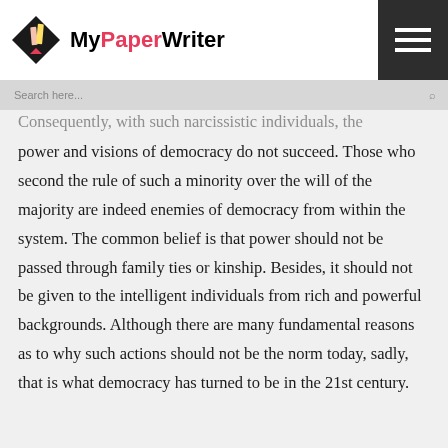MyPaperWriter
Consequently, with such narcissistic individuals, the power and visions of democracy do not succeed. Those who second the rule of such a minority over the will of the majority are indeed enemies of democracy from within the system. The common belief is that power should not be passed through family ties or kinship. Besides, it should not be given to the intelligent individuals from rich and powerful backgrounds. Although there are many fundamental reasons as to why such actions should not be the norm today, sadly, that is what democracy has turned to be in the 21st century.